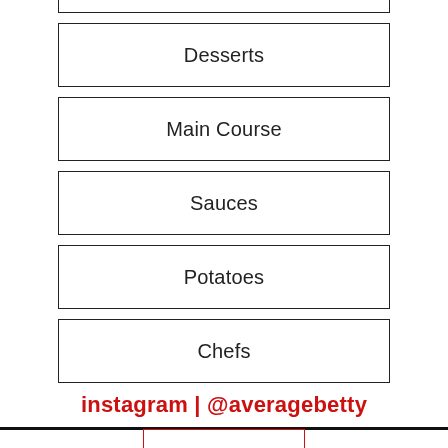Desserts
Main Course
Sauces
Potatoes
Chefs
instagram | @averagebetty